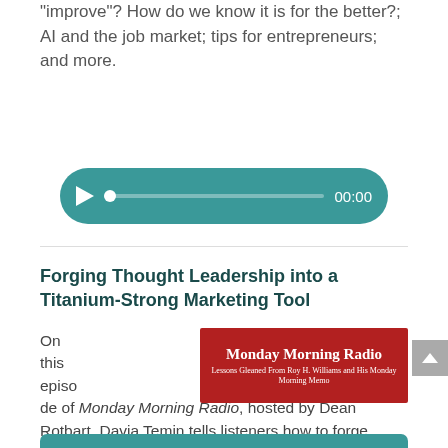“improve”? How do we know it is for the better?; AI and the job market; tips for entrepreneurs; and more.
[Figure (screenshot): Audio player UI with teal rounded rectangle, play button, scrubber track with dot, and time display showing 00:00]
Forging Thought Leadership into a Titanium-Strong Marketing Tool
[Figure (logo): Monday Morning Radio logo banner on red background with subtitle: Lessons Gleaned From Roy H. Williams and His Monday Morning Memo]
On this episode of Monday Morning Radio, hosted by Dean Rotbart, Davia Temin tells listeners how to forge thought leadership and reputation management into titanium-strong marketing tools – both for yourself, and for your company or products.